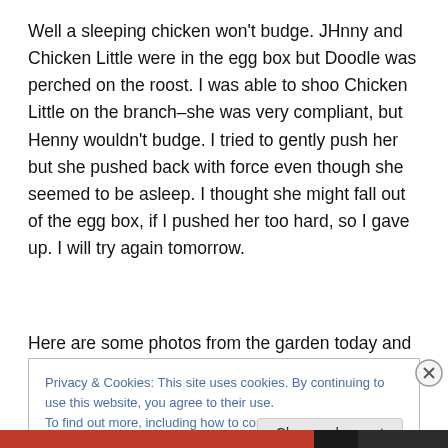Well a sleeping chicken won't budge. JHnny and Chicken Little were in the egg box but Doodle was perched on the roost. I was able to shoo Chicken Little on the branch–she was very compliant, but Henny wouldn't budge. I tried to gently push her but she pushed back with force even though she seemed to be asleep. I thought she might fall out of the egg box, if I pushed her too hard, so I gave up. I will try again tomorrow.
Here are some photos from the garden today and the jobs
Privacy & Cookies: This site uses cookies. By continuing to use this website, you agree to their use.
To find out more, including how to control cookies, see here: Cookie Policy